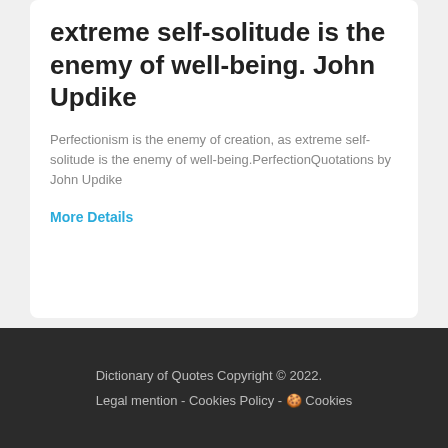extreme self-solitude is the enemy of well-being. John Updike
Perfectionism is the enemy of creation, as extreme self-solitude is the enemy of well-being.PerfectionQuotations by John Updike
More Details
Dictionary of Quotes Copyright © 2022.
Legal mention - Cookies Policy - 🍪 Cookies